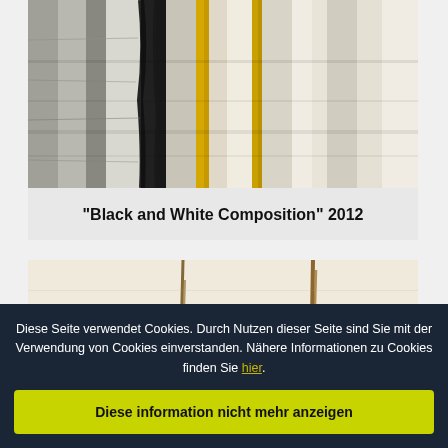[Figure (photo): Abstract painting 'Black and White Composition' 2012 - showing vertical brushstrokes in black, white and yellow tones on canvas]
"Black and White Composition" 2012
[Figure (photo): Abstract painting with sparse dark marks and brown/golden vertical drips on a light background]
Diese Seite verwendet Cookies. Durch Nutzen dieser Seite sind Sie mit der Verwendung von Cookies einverstanden. Nähere Informationen zu Cookies finden Sie hier.
Diese information nicht mehr anzeigen